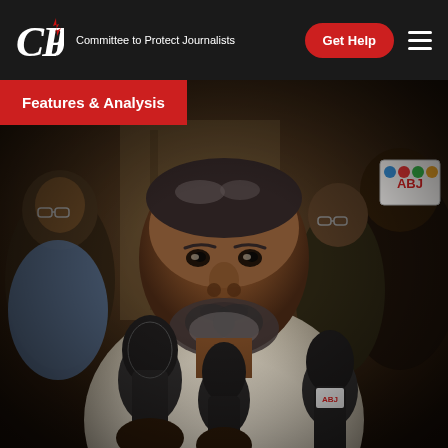CPJ — Committee to Protect Journalists | Get Help
[Figure (photo): A man in a white shirt speaking at a press conference surrounded by microphones, including one with an ABJ logo. Several people are visible in the background.]
Features & Analysis